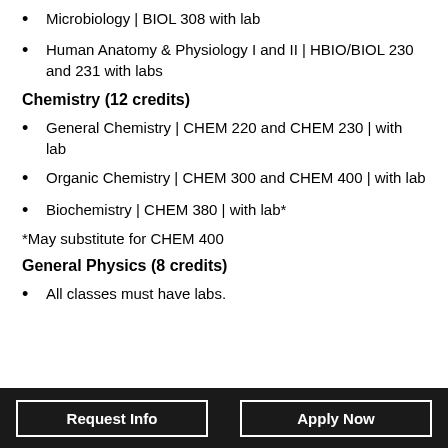Microbiology | BIOL 308 with lab
Human Anatomy & Physiology I and II | HBIO/BIOL 230 and 231 with labs
Chemistry (12 credits)
General Chemistry | CHEM 220 and CHEM 230 | with lab
Organic Chemistry | CHEM 300 and CHEM 400 | with lab
Biochemistry | CHEM 380 | with lab*
*May substitute for CHEM 400
General Physics (8 credits)
All classes must have labs.
Request Info   Apply Now